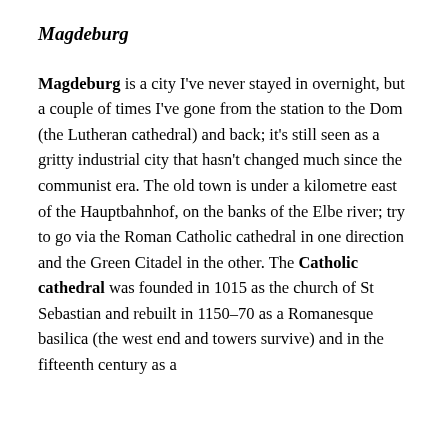Magdeburg
Magdeburg is a city I've never stayed in overnight, but a couple of times I've gone from the station to the Dom (the Lutheran cathedral) and back; it's still seen as a gritty industrial city that hasn't changed much since the communist era. The old town is under a kilometre east of the Hauptbahnhof, on the banks of the Elbe river; try to go via the Roman Catholic cathedral in one direction and the Green Citadel in the other. The Catholic cathedral was founded in 1015 as the church of St Sebastian and rebuilt in 1150–70 as a Romanesque basilica (the west end and towers survive) and in the fifteenth century as a